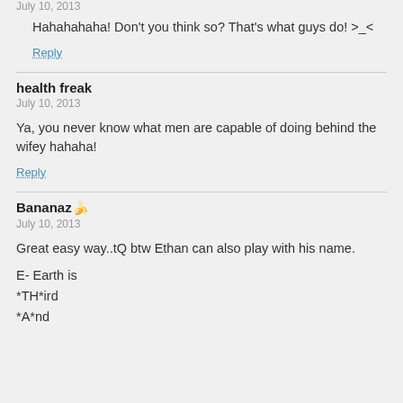July 10, 2013
Hahahahaha! Don't you think so? That's what guys do! >_<
Reply
health freak
July 10, 2013
Ya, you never know what men are capable of doing behind the wifey hahaha!
Reply
Bananaz🍌
July 10, 2013
Great easy way..tQ btw Ethan can also play with his name.
E- Earth is
*TH*ird
*A*nd